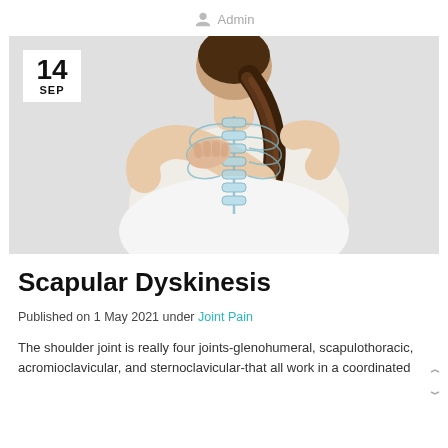Admin
[Figure (photo): Woman seen from behind touching her shoulder/scapula area, with an illustrated overlay of the spine and ribs visible through her back. She has dark hair in a ponytail and is wearing a white top. Background is light gray.]
Scapular Dyskinesis
Published on 1 May 2021 under Joint Pain
The shoulder joint is really four joints-glenohumeral, scapulothoracic, acromioclavicular, and sternoclavicular-that all work in a coordinated